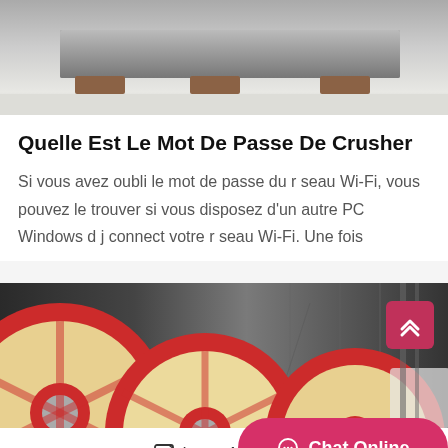[Figure (photo): Top portion of a photo showing what appears to be a flat pallet or platform on a light surface, partially cropped.]
Quelle Est Le Mot De Passe De Crusher
Si vous avez oubli le mot de passe du r seau Wi-Fi, vous pouvez le trouver si vous disposez d'un autre PC Windows d j connect votre r seau Wi-Fi. Une fois
[Figure (photo): Photo of large industrial crusher machine wheels/flywheels in a factory setting. Red and beige/cream colored large circular wheels are prominent.]
Leave Message   Chat Online